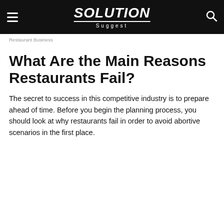Solution Suggest
Restaurant Business
What Are the Main Reasons Restaurants Fail?
The secret to success in this competitive industry is to prepare ahead of time. Before you begin the planning process, you should look at why restaurants fail in order to avoid abortive scenarios in the first place.